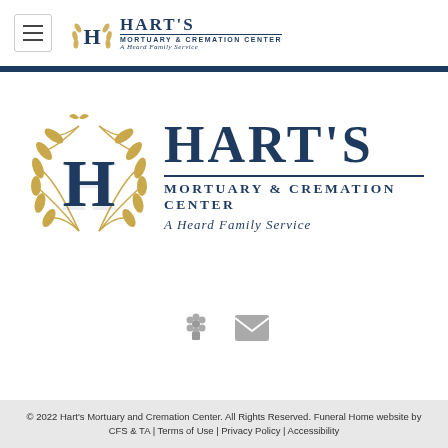Hart's Mortuary & Cremation Center — A Heard Family Service
[Figure (logo): Hart's Mortuary & Cremation Center logo with laurel wreath emblem and stylized H monogram, large centered version]
[Figure (other): Small gray flower/contact icon and envelope/email icon]
© 2022 Hart's Mortuary and Cremation Center. All Rights Reserved. Funeral Home website by CFS & TA | Terms of Use | Privacy Policy | Accessibility